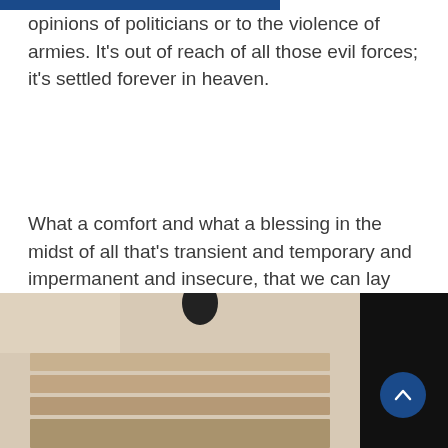opinions of politicians or to the violence of armies. It's out of reach of all those evil forces; it's settled forever in heaven.
What a comfort and what a blessing in the midst of all that's transient and temporary and impermanent and insecure, that we can lay hold in our own lives on God's Word which is forever, which comes from Him, which is settled in heaven.
[Figure (photo): A blurred photograph of wooden steps or stairs, with a dark area on the right side, and a scroll-to-top navigation button overlaid in the bottom right corner.]